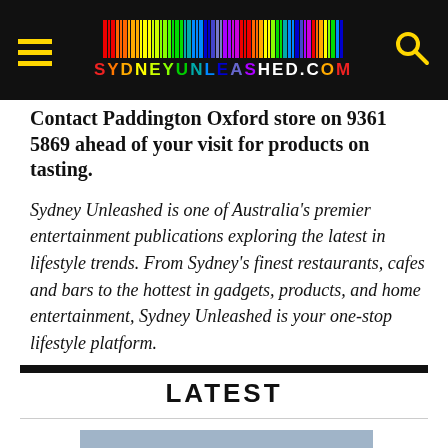SYDNEYUNLEASHED.COM
Contact Paddington Oxford store on 9361 5869 ahead of your visit for products on tasting.
Sydney Unleashed is one of Australia’s premier entertainment publications exploring the latest in lifestyle trends. From Sydney’s finest restaurants, cafes and bars to the hottest in gadgets, products, and home entertainment, Sydney Unleashed is your one-stop lifestyle platform.
LATEST
[Figure (photo): Partial view of an article image placeholder in blue-grey]